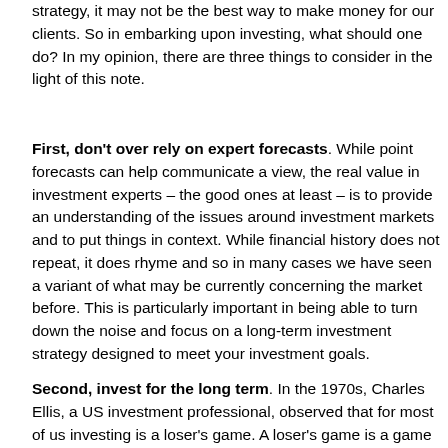strategy, it may not be the best way to make money for our clients. So in embarking upon investing, what should one do? In my opinion, there are three things to consider in the light of this note.
First, don't over rely on expert forecasts. While point forecasts can help communicate a view, the real value in investment experts – the good ones at least – is to provide an understanding of the issues around investment markets and to put things in context. While financial history does not repeat, it does rhyme and so in many cases we have seen a variant of what may be currently concerning the market before. This is particularly important in being able to turn down the noise and focus on a long-term investment strategy designed to meet your investment goals.
Second, invest for the long term. In the 1970s, Charles Ellis, a US investment professional, observed that for most of us investing is a loser's game. A loser's game is a game